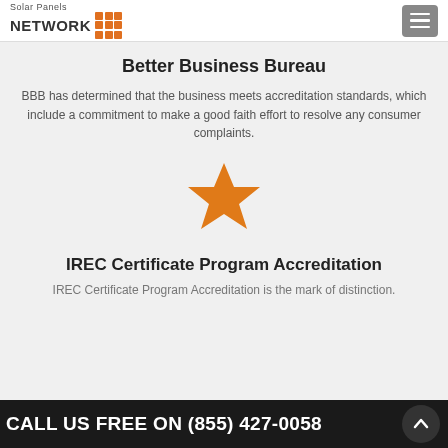Solar Panels NETWORK
Better Business Bureau
BBB has determined that the business meets accreditation standards, which include a commitment to make a good faith effort to resolve any consumer complaints.
[Figure (illustration): Orange star icon]
IREC Certificate Program Accreditation
IREC Certificate Program Accreditation is the mark of distinction.
CALL US FREE ON (855) 427-0058